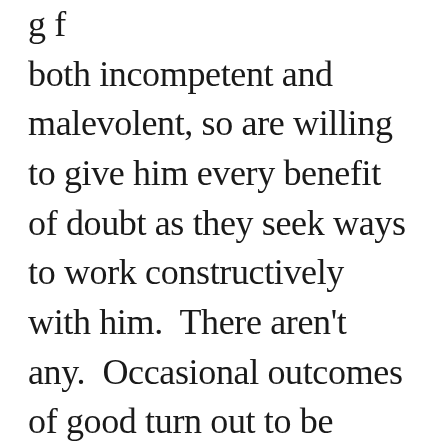g f both incompetent and malevolent, so are willing to give him every benefit of doubt as they seek ways to work constructively with him.  There aren't any.  Occasional outcomes of good turn out to be coincidences, a lucky roll